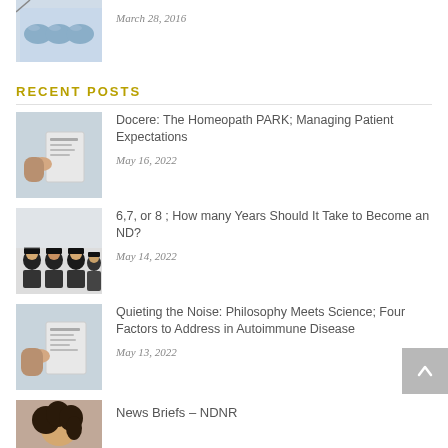[Figure (photo): Blue pills/tablets on white background, thumbnail image]
March 28, 2016
RECENT POSTS
[Figure (photo): Person reviewing documents, doctor-patient consultation, thumbnail]
Docere: The Homeopath PARK; Managing Patient Expectations
May 16, 2022
[Figure (photo): Group of graduates in caps and gowns, thumbnail]
6,7, or 8 ; How many Years Should It Take to Become an ND?
May 14, 2022
[Figure (photo): Person reviewing documents, consultation, thumbnail]
Quieting the Noise: Philosophy Meets Science; Four Factors to Address in Autoimmune Disease
May 13, 2022
[Figure (photo): Person with curly hair, portrait thumbnail]
News Briefs – NDNR
May 6, 2022